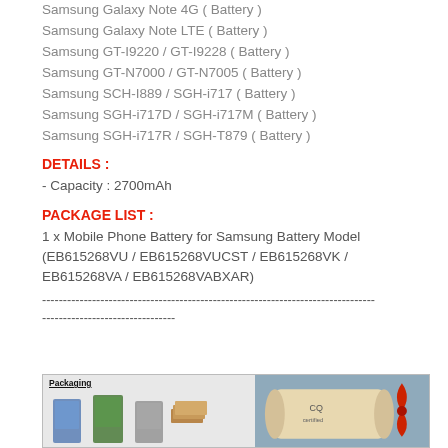Samsung Galaxy Note 4G ( Battery )
Samsung Galaxy Note LTE ( Battery )
Samsung GT-I9220 / GT-I9228 ( Battery )
Samsung GT-N7000 / GT-N7005 ( Battery )
Samsung SCH-I889 / SGH-i717 ( Battery )
Samsung SGH-i717D / SGH-i717M ( Battery )
Samsung SGH-i717R / SGH-T879 ( Battery )
DETAILS :
- Capacity : 2700mAh
PACKAGE LIST :
1 x Mobile Phone Battery for Samsung Battery Model (EB615268VU / EB615268VUCST / EB615268VK / EB615268VA / EB615268VABXAR)
--------------------------------------------------------------------------------
--------------------------------
[Figure (photo): Product packaging photo showing battery boxes on left and a rolled certificate/scroll with red ribbon on right]